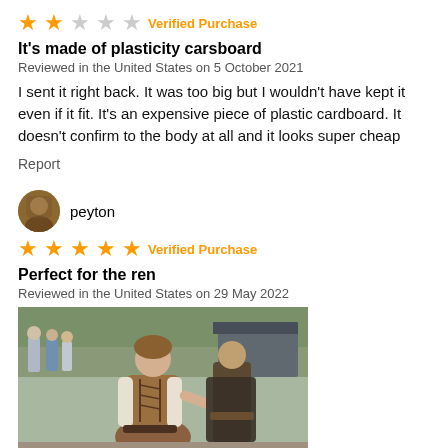[Figure (other): 2-star rating and Verified Purchase label]
It's made of plasticity carsboard
Reviewed in the United States on 5 October 2021
I sent it right back. It was too big but I wouldn't have kept it even if it fit. It's an expensive piece of plastic cardboard. It doesn't confirm to the body at all and it looks super cheap
Report
[Figure (photo): Avatar photo of reviewer peyton]
peyton
[Figure (other): 5-star rating and Verified Purchase label]
Perfect for the ren
Reviewed in the United States on 29 May 2022
[Figure (photo): Photo of a person wearing a renaissance fair costume (corset/bodice outfit) at an outdoor event]